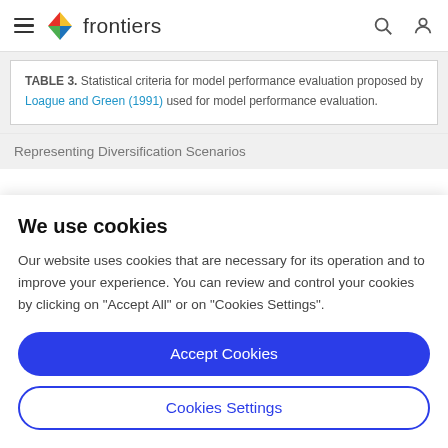frontiers
TABLE 3. Statistical criteria for model performance evaluation proposed by Loague and Green (1991) used for model performance evaluation.
Representing Diversification Scenarios
We use cookies
Our website uses cookies that are necessary for its operation and to improve your experience. You can review and control your cookies by clicking on "Accept All" or on "Cookies Settings".
Accept Cookies
Cookies Settings